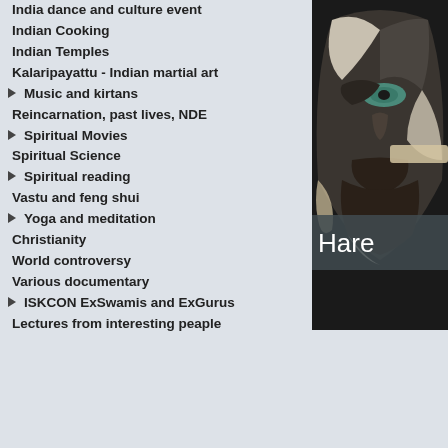India dance and culture event
Indian Cooking
Indian Temples
Kalaripayattu - Indian martial art
Music and kirtans
Reincarnation, past lives, NDE
Spiritual Movies
Spiritual Science
Spiritual reading
Vastu and feng shui
Yoga and meditation
Christianity
World controversy
Various documentary
ISKCON ExSwamis and ExGurus
Lectures from interesting peaple
[Figure (illustration): Abstract artistic face illustration with blue/green and dark tones, with text overlay showing 'Hare']
Author: Madhavasrockba
Runtime: 0:09:05